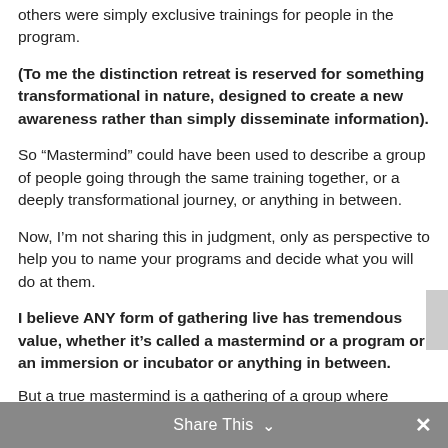others were simply exclusive trainings for people in the program.
(To me the distinction retreat is reserved for something transformational in nature, designed to create a new awareness rather than simply disseminate information).
So “Mastermind” could have been used to describe a group of people going through the same training together, or a deeply transformational journey, or anything in between.
Now, I’m not sharing this in judgment, only as perspective to help you to name your programs and decide what you will do at them.
I believe ANY form of gathering live has tremendous value, whether it’s called a mastermind or a program or an immersion or incubator or anything in between.
But a true mastermind is a gathering of a group where
Share This